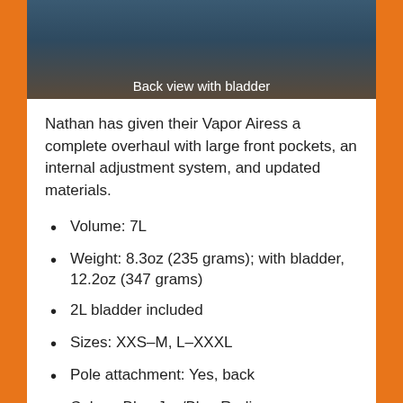[Figure (photo): Back view of a running vest/hydration pack being worn, showing the back with a bladder compartment visible. Dark blue/teal colored vest.]
Back view with bladder
Nathan has given their Vapor Airess a complete overhaul with large front pockets, an internal adjustment system, and updated materials.
Volume: 7L
Weight: 8.3oz (235 grams); with bladder, 12.2oz (347 grams)
2L bladder included
Sizes: XXS–M, L–XXXL
Pole attachment: Yes, back
Colors: Blue Jay/Blue Radiance
Price: $149.95